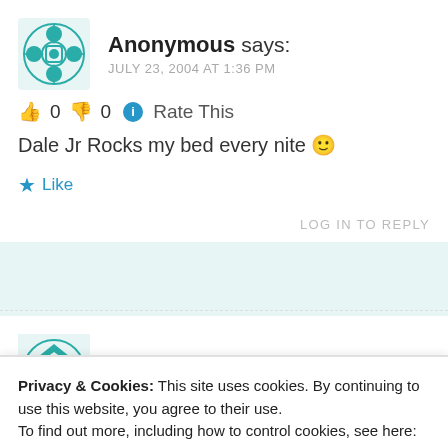Anonymous says:
JULY 23, 2004 AT 1:36 PM
👍 0 👎 0 ℹ Rate This
Dale Jr Rocks my bed every nite 🙂
★ Like
LOG IN TO REPLY
Redneck08 says:
Privacy & Cookies: This site uses cookies. By continuing to use this website, you agree to their use. To find out more, including how to control cookies, see here: Cookie Policy
Close and accept